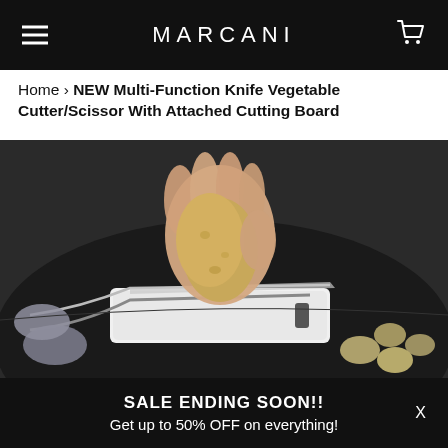MARCANI
Home › NEW Multi-Function Knife Vegetable Cutter/Scissor With Attached Cutting Board
[Figure (photo): A hand holding a small potato above a scissor-style vegetable cutter with an attached white cutting board, positioned over a dark pan with sliced potato pieces visible in the background.]
SALE ENDING SOON!! Get up to 50% OFF on everything!